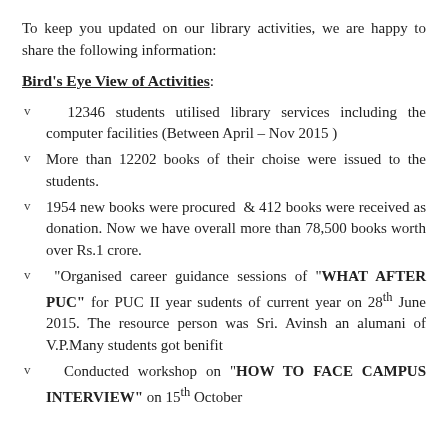To keep you updated on our library activities, we are happy to share the following information:
Bird's Eye View of Activities:
12346 students utilised library services including the computer facilities (Between April – Nov 2015 )
More than 12202 books of their choise were issued to the students.
1954 new books were procured  & 412 books were received as donation. Now we have overall more than 78,500 books worth over Rs.1 crore.
"Organised career guidance sessions of "WHAT AFTER PUC" for PUC II year sudents of current year on 28th June 2015. The resource person was Sri. Avinsh an alumani of V.P.Many students got benifit
Conducted workshop on "HOW TO FACE CAMPUS INTERVIEW" on 15th October